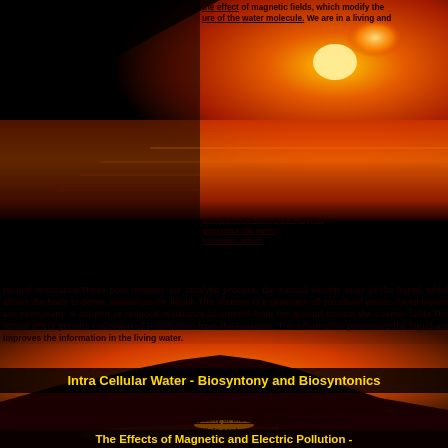[Figure (photo): Sunset over water with orange and red sky, mountain silhouette in the background — appears twice on the page as top and bottom background images]
...it is very difficult to appreciate these years the effect of magnetic fields, which modify the structure of the water molecule. We are in a living and
...prompted us to create these types as generates the water, which natural resonance. These pots restores via catalytic process, the natural electric state of the liquid, which allows the body to better, assimilate the liquid. The Vortelys is a generator of structural waves. Its emissions are permanent. A column of reduced resistance is created from the ground toward the cosmic fields. This tunnel effect permits collection of information from the universe. The information permeates the liquid and improves the information in the living water.
Intra Cellular Water - Biosyntony and Biosyntonics
Fritz Albert Popp showed evidence of emission of from the cells. The content of the water in each cell capacity of the body. The Intracellular water multiple contents in the human body.
The Effects of Magnetic and Electric Pollution -